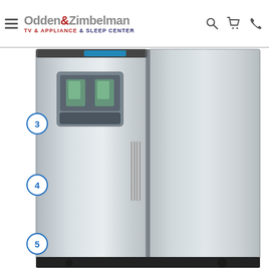Odden & Zimbelman TV & Appliance & Sleep Center
[Figure (photo): A large stainless steel side-by-side refrigerator with an ice/water dispenser on the left freezer door. Numbered callouts 3, 4, and 5 are marked on the left door with blue circled numbers.]